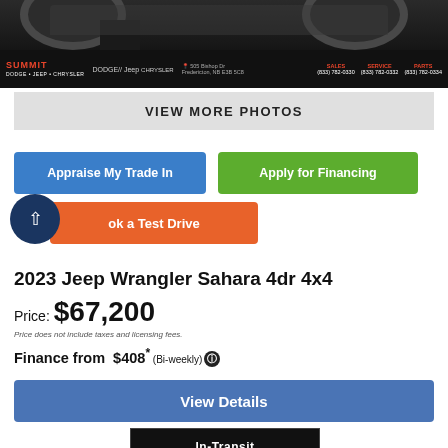[Figure (photo): Dealership banner with Summit Dodge Jeep logo, vehicle tires/undercarriage visible at top, address 505 Bishop Dr Fredericton NB E3B 5C8, phone numbers for Sales (833) 782-0330, Service (833) 782-0332, Parts (833) 782-0334]
VIEW MORE PHOTOS
Appraise My Trade In
Apply for Financing
Book a Test Drive
2023 Jeep Wrangler Sahara 4dr 4x4
Price: $67,200
Price does not include taxes and licensing fees.
Finance from $408* (Bi-weekly)
View Details
In-Transit Vehicle